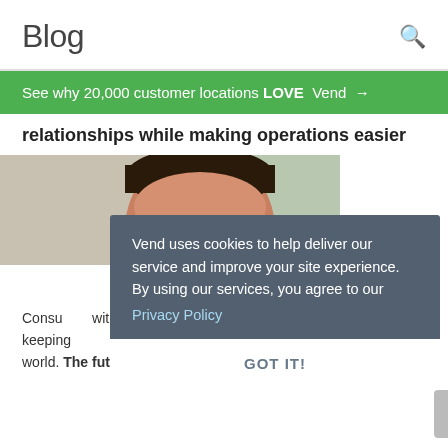Blog
See why 20,000 customer locations LOVE Vend →
relationships while making operations easier
[Figure (photo): Headshot photo of a man with dark hair, partial view]
Vend uses cookies to help deliver our service and improve your site experience. By using our services, you agree to our Privacy Policy GOT IT!
Consu... with t... keeping up in today's mobile and social world. The future of